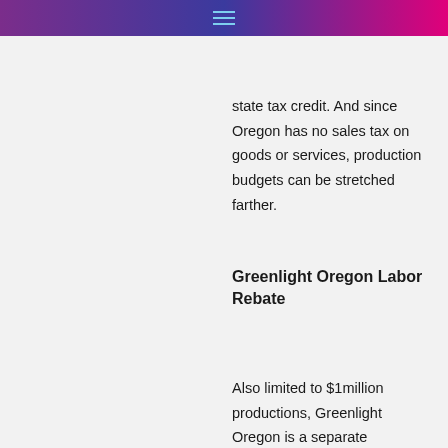state tax credit. And since Oregon has no sales tax on goods or services, production budgets can be stretched farther.
Greenlight Oregon Labor Rebate
Also limited to $1million productions, Greenlight Oregon is a separate uncapped annual fund (which can be combined with the Oregon Production Investment Fund as noted above) offering an additional labor rebate of up to 6.2% for Oregon-based payroll. Any